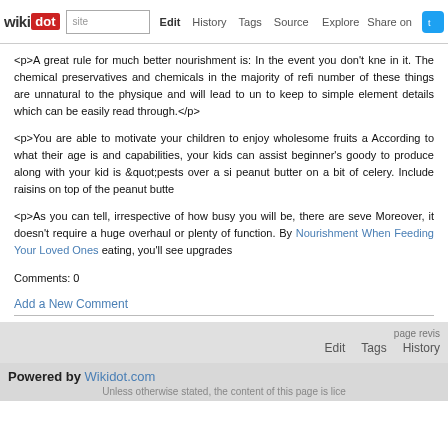wikidot | site | Edit | History | Tags | Source | Explore | Share on [Twitter]
<p>A great rule for much better nourishment is: In the event you don't kno in it. The chemical preservatives and chemicals in the majority of refi number of these things are unnatural to the physique and will lead to un to keep to simple element details which can be easily read through.</p>
<p>You are able to motivate your children to enjoy wholesome fruits a According to what their age is and capabilities, your kids can assist beginner's goody to produce along with your kid is &quot;pests over a s peanut butter on a bit of celery. Include raisins on top of the peanut butte</p>
<p>As you can tell, irrespective of how busy you will be, there are seve Moreover, it doesn't require a huge overhaul or plenty of function. By Nourishment When Feeding Your Loved Ones eating, you'll see upgrades</p>
Comments: 0
Add a New Comment
page revis | Edit | Tags | History
Powered by Wikidot.com | Unless otherwise stated, the content of this page is lice